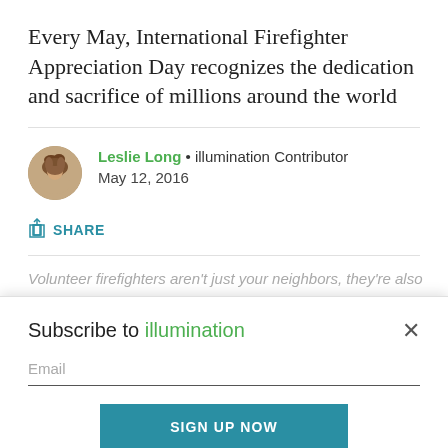Every May, International Firefighter Appreciation Day recognizes the dedication and sacrifice of millions around the world
Leslie Long • illumination Contributor
May 12, 2016
SHARE
Volunteer firefighters aren't just your neighbors, they're also
Subscribe to illumination
Email
SIGN UP NOW